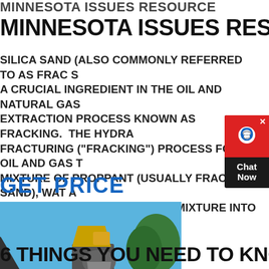MINNESOTA ISSUES RESOURCE
SILICA SAND (ALSO COMMONLY REFERRED TO AS FRAC S... A CRUCIAL INGREDIENT IN THE OIL AND NATURAL GAS EXTRACTION PROCESS KNOWN AS FRACKING. THE HYDRA FRACTURING ("FRACKING") PROCESS FOR OIL AND GAS TA MIXTURE OF PROPPANT (USUALLY FRAC SAND), WAT A CHEMICALS AND INJECTS THIS MIXTURE INTO A WE N VERY HIGH PRESSURE.
GET PRICE
[Figure (photo): Industrial mining or crushing equipment with conveyor belts against a blue sky background with trees]
6 THINGS YOU NEED TO KNOW